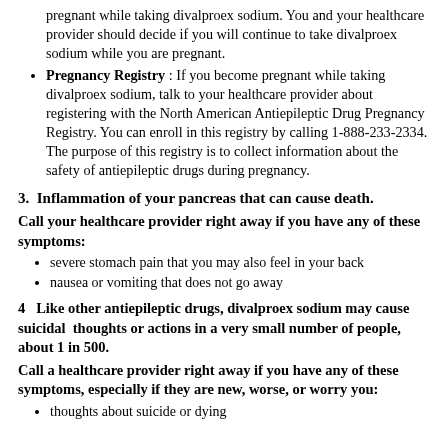pregnant while taking divalproex sodium. You and your healthcare provider should decide if you will continue to take divalproex sodium while you are pregnant.
Pregnancy Registry : If you become pregnant while taking divalproex sodium, talk to your healthcare provider about registering with the North American Antiepileptic Drug Pregnancy Registry. You can enroll in this registry by calling 1-888-233-2334. The purpose of this registry is to collect information about the safety of antiepileptic drugs during pregnancy.
3.  Inflammation of your pancreas that can cause death.
Call your healthcare provider right away if you have any of these symptoms:
severe stomach pain that you may also feel in your back
nausea or vomiting that does not go away
4   Like other antiepileptic drugs, divalproex sodium may cause suicidal  thoughts or actions in a very small number of people, about 1 in 500.
Call a healthcare provider right away if you have any of these symptoms, especially if they are new, worse, or worry you:
thoughts about suicide or dying